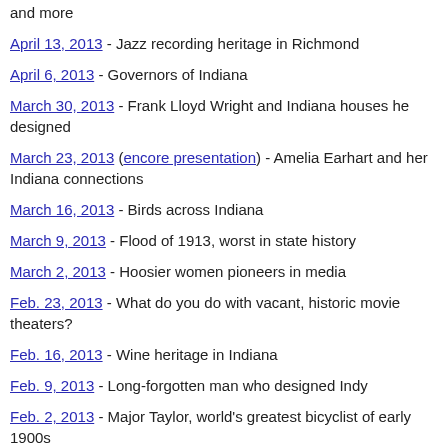and more
April 13, 2013 - Jazz recording heritage in Richmond
April 6, 2013 - Governors of Indiana
March 30, 2013 - Frank Lloyd Wright and Indiana houses he designed
March 23, 2013 (encore presentation) - Amelia Earhart and her Indiana connections
March 16, 2013 - Birds across Indiana
March 9, 2013 - Flood of 1913, worst in state history
March 2, 2013 - Hoosier women pioneers in media
Feb. 23, 2013 - What do you do with vacant, historic movie theaters?
Feb. 16, 2013 - Wine heritage in Indiana
Feb. 9, 2013 - Long-forgotten man who designed Indy
Feb. 2, 2013 - Major Taylor, world's greatest bicyclist of early 1900s